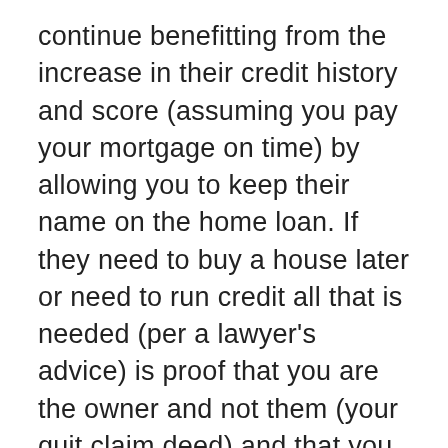continue benefitting from the increase in their credit history and score (assuming you pay your mortgage on time) by allowing you to keep their name on the home loan. If they need to buy a house later or need to run credit all that is needed (per a lawyer's advice) is proof that you are the owner and not them (your quit claim deed) and that you have been making the payments (your bank statements). With this information, their loan officer will not use the mortgage loan against them on their credit/loan